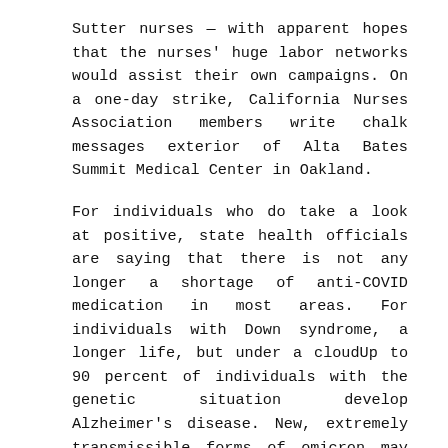Sutter nurses — with apparent hopes that the nurses' huge labor networks would assist their own campaigns. On a one-day strike, California Nurses Association members write chalk messages exterior of Alta Bates Summit Medical Center in Oakland.
For individuals who do take a look at positive, state health officials are saying that there is not any longer a shortage of anti-COVID medication in most areas. For individuals with Down syndrome, a longer life, but under a cloudUp to 90 percent of individuals with the genetic situation develop Alzheimer's disease. New, extremely transmissible forms of omicron may pose latest covid threatIt is just too quickly to foretell how far the new subvariants might spread and the way sick they may make folks, consultants mentioned.